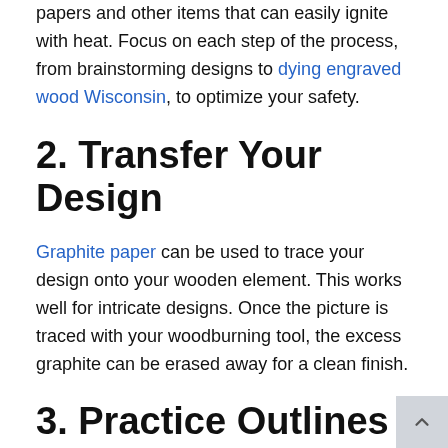papers and other items that can easily ignite with heat. Focus on each step of the process, from brainstorming designs to dying engraved wood Wisconsin, to optimize your safety.
2. Transfer Your Design
Graphite paper can be used to trace your design onto your wooden element. This works well for intricate designs. Once the picture is traced with your woodburning tool, the excess graphite can be erased away for a clean finish.
3. Practice Outlines and Shading